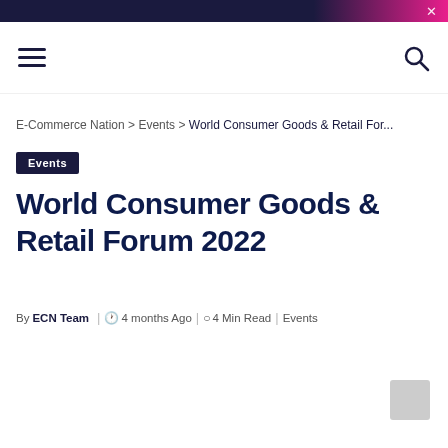× (close button)
≡ (hamburger menu) | 🔍 (search icon)
E-Commerce Nation > Events > World Consumer Goods & Retail For...
Events
World Consumer Goods & Retail Forum 2022
By ECN Team | 4 months Ago | 4 Min Read | Events